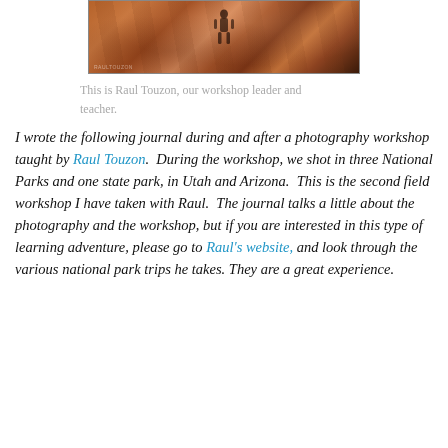[Figure (photo): Photo of Raul Touzon in a slot canyon with red rock walls]
This is Raul Touzon, our workshop leader and teacher.
I wrote the following journal during and after a photography workshop taught by Raul Touzon. During the workshop, we shot in three National Parks and one state park, in Utah and Arizona. This is the second field workshop I have taken with Raul. The journal talks a little about the photography and the workshop, but if you are interested in this type of learning adventure, please go to Raul's website, and look through the various national park trips he takes. They are a great experience.